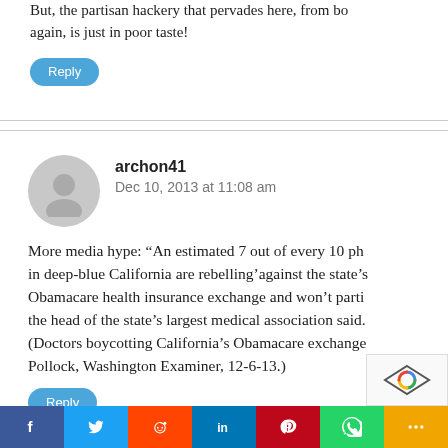But, the partisan hackery that pervades here, from both sides again, is just in poor taste!
Reply
archon41
Dec 10, 2013 at 11:08 am
More media hype: “An estimated 7 out of every 10 physicians in deep-blue California are rebelling’against the state’s Obamacare health insurance exchange and won’t participate, the head of the state’s largest medical association said.” (Doctors boycotting California’s Obamacare exchange, Pollock, Washington Examiner, 12-6-13.)
Reply
[Figure (other): reCAPTCHA logo widget]
[Figure (infographic): Social share bar with icons: Facebook, Twitter, Reddit, LinkedIn, Pinterest, WhatsApp, More]